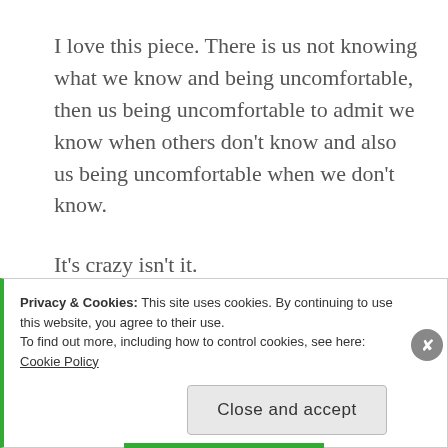I love this piece. There is us not knowing what we know and being uncomfortable, then us being uncomfortable to admit we know when others don't know and also us being uncomfortable when we don't know.
It's crazy isn't it.
Like you said it's okay to know and it's also okay not to know.
Privacy & Cookies: This site uses cookies. By continuing to use this website, you agree to their use. To find out more, including how to control cookies, see here: Cookie Policy
Close and accept